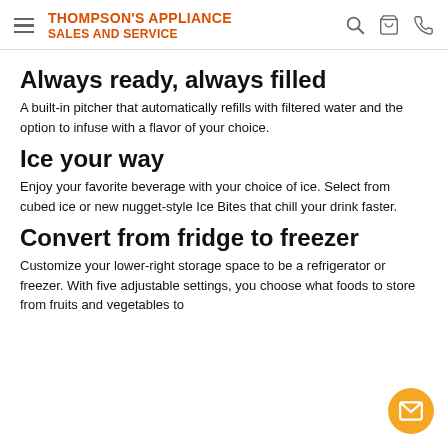Thompson's Appliance Sales and Service
Always ready, always filled
A built-in pitcher that automatically refills with filtered water and the option to infuse with a flavor of your choice.
Ice your way
Enjoy your favorite beverage with your choice of ice. Select from cubed ice or new nugget-style Ice Bites that chill your drink faster.
Convert from fridge to freezer
Customize your lower-right storage space to be a refrigerator or freezer. With five adjustable settings, you choose what foods to store from fruits and vegetables to